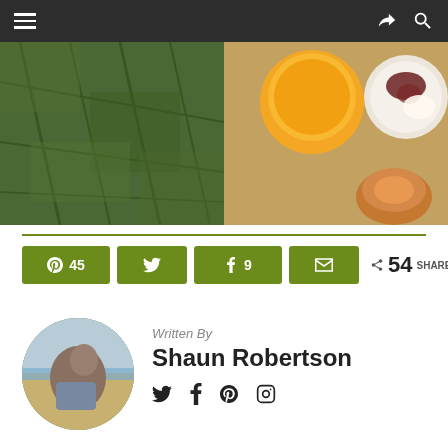Navigation bar with hamburger menu, share and search icons
[Figure (photo): Split hero image: left half shows aerial view of green farmland fields, right half shows food items including orange juice glass, bowl with dark toppings and cream, and a baked item]
45  9  54 SHARES
Written By
Shaun Robertson
[Figure (photo): Circular avatar photo of Shaun Robertson on a beach]